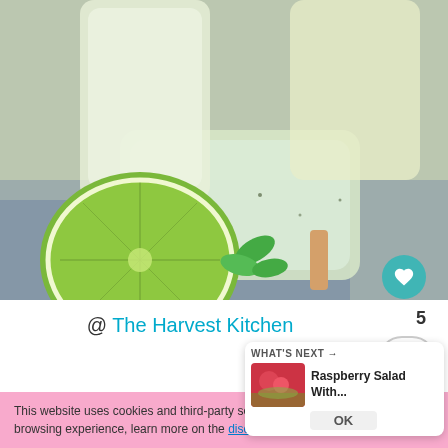[Figure (photo): Photo of lime popsicles with lime slices and mint leaves on a blue/grey cloth background]
@ The Harvest Kitchen
5
This website uses cookies and third-party services to provide you with the best browsing experience, learn more on the disclaimer page.
WHAT'S NEXT → Raspberry Salad With... OK